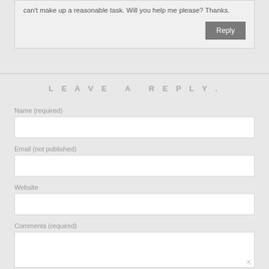can't make up a reasonable task. Will you help me please? Thanks.
Reply
LEAVE A REPLY.
Name (required)
Email (not published)
Website
Comments (required)